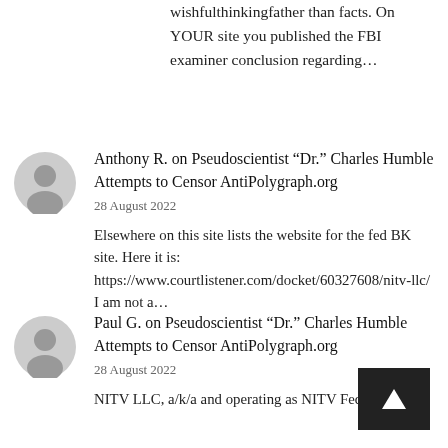wishfulthinkingrather than facts. On YOUR site you published the FBI examiner conclusion regarding...
Anthony R. on Pseudoscientist “Dr.” Charles Humble Attempts to Censor AntiPolygraph.org
28 August 2022
Elsewhere on this site lists the website for the fed BK site. Here it is: https://www.courtlistener.com/docket/60327608/nitv-llc/ I am not a...
Paul G. on Pseudoscientist “Dr.” Charles Humble Attempts to Censor AntiPolygraph.org
28 August 2022
NITV LLC, a/k/a and operating as NITV Federal